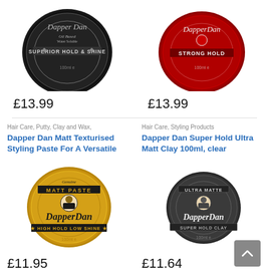[Figure (photo): Dapper Dan black tin - Superior Hold & Shine 100ml]
£13.99
[Figure (photo): Dapper Dan red tin - Strong Hold 100ml]
£13.99
Hair Care, Putty, Clay and Wax,
Dapper Dan Matt Texturised Styling Paste For A Versatile
[Figure (photo): Dapper Dan gold tin - Matt Paste, High Hold Low Shine 100ml]
£11.95
Hair Care, Styling Products
Dapper Dan Super Hold Ultra Matt Clay 100ml, clear
[Figure (photo): Dapper Dan dark grey tin - Ultra Matte, Super Hold Clay]
£11.64